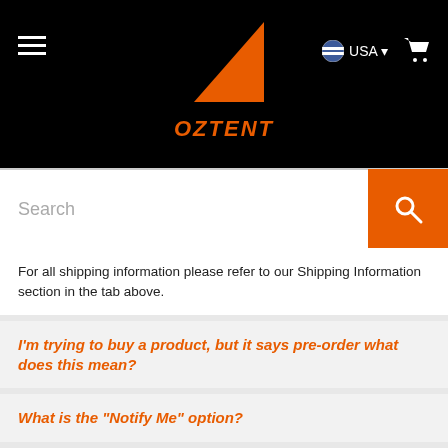[Figure (logo): Oztent logo with orange triangle and OZTENT text, navigation bar with hamburger menu, USA region selector, and cart icon on black background]
Search
For all shipping information please refer to our Shipping Information section in the tab above.
I'm trying to buy a product, but it says pre-order what does this mean?
What is the "Notify Me" option?
I have placed an item on pre-order how will I know when my stock will be in?
How do I find Oztent products near me?
I cannot find a product listed on the